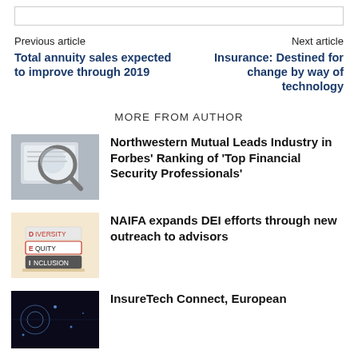Previous article
Total annuity sales expected to improve through 2019
Next article
Insurance: Destined for change by way of technology
MORE FROM AUTHOR
[Figure (photo): Magnifying glass over a computer screen]
Northwestern Mutual Leads Industry in Forbes’ Ranking of ‘Top Financial Security Professionals’
[Figure (photo): Stacked books labeled DIVERSITY, EQUITY, INCLUSION]
NAIFA expands DEI efforts through new outreach to advisors
[Figure (photo): Dark image possibly InsureTech Connect]
InsureTech Connect, European